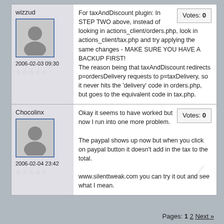wizzud
[Figure (photo): Avatar silhouette of a person, gray background, blue border]
2006-02-03 09:30
★★★★★ (empty stars rating)
Votes: 0
For taxAndDiscount plugin: In STEP TWO above, instead of looking in actions_client/orders.php, look in actions_client/tax.php and try applying the same changes - MAKE SURE YOU HAVE A BACKUP FIRST! The reason being that taxAndDiscount redirects p=ordersDelivery requests to p=taxDelivery, so it never hits the 'delivery' code in orders.php, but goes to the equivalent code in tax.php.
Chocolinx
[Figure (photo): Avatar silhouette of a person, gray background, blue border]
2006-02-04 23:42
★★★★★ (empty stars rating)
Votes: 0
Okay it seems to have worked but now I run into one more problem.

The paypal shows up now but when you click on paypal button it doesn't add in the tax to the total.

www.silenttweak.com you can try it out and see what I mean.
Pages: 1 2 Next »